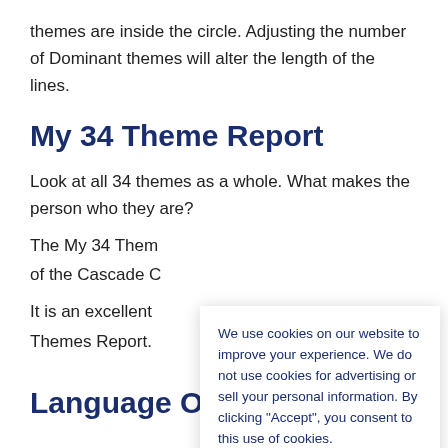themes are inside the circle. Adjusting the number of Dominant themes will alter the length of the lines.
My 34 Theme Report
Look at all 34 themes as a whole. What makes the person who they are?
The My 34 Them... of the Cascade C...
It is an excellent... Themes Report.
We use cookies on our website to improve your experience. We do not use cookies for advertising or sell your personal information. By clicking “Accept”, you consent to this use of cookies.
Language O...